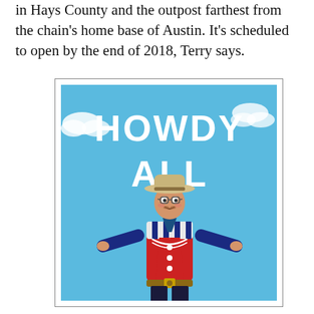in Hays County and the outpost farthest from the chain's home base of Austin. It's scheduled to open by the end of 2018, Terry says.
[Figure (photo): Advertisement or promotional image with text 'HOWDY ALL' in large bold white letters on a blue sky background, with a person dressed as a cowboy in a red and blue outfit with arms outstretched wearing a cowboy hat.]